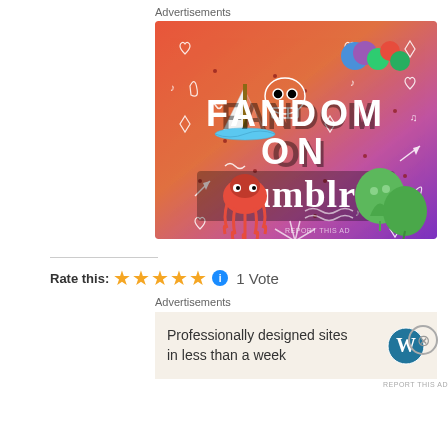Advertisements
[Figure (illustration): Tumblr advertisement banner with colorful gradient background (orange to purple) featuring 'FANDOM ON tumblr' text in bold black and white letters, surrounded by doodles of a sailboat, dice, skull, plants, squid, and various icons.]
REPORT THIS AD
Rate this: ★★★★★ ℹ 1 Vote
Advertisements
[Figure (infographic): WordPress advertisement: 'Professionally designed sites in less than a week' with WordPress logo]
REPORT THIS AD